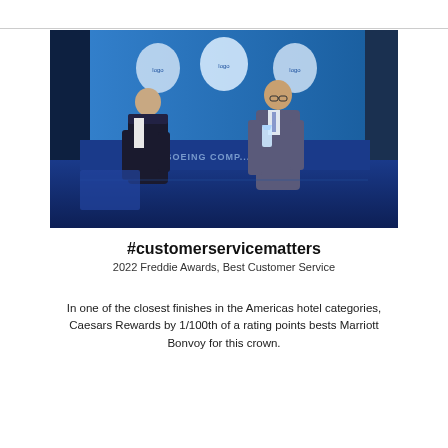[Figure (photo): Two men on a stage, one holding a crystal award trophy, with a Boeing Company backdrop and blue screen with circular logos behind them. Award ceremony setting.]
#customerservicematters
2022 Freddie Awards, Best Customer Service
In one of the closest finishes in the Americas hotel categories, Caesars Rewards by 1/100th of a rating points bests Marriott Bonvoy for this crown.